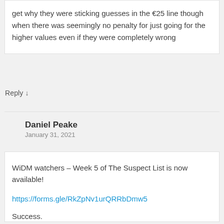get why they were sticking guesses in the €25 line though when there was seemingly no penalty for just going for the higher values even if they were completely wrong
Reply ↓
Daniel Peake
January 31, 2021
WiDM watchers – Week 5 of The Suspect List is now available!
https://forms.gle/RkZpNv1urQRRbDmw5
Success.